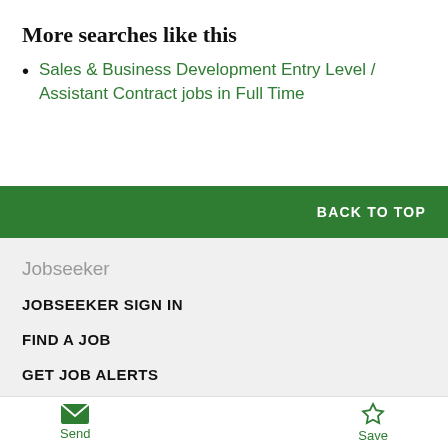More searches like this
Sales & Business Development Entry Level / Assistant Contract jobs in Full Time
BACK TO TOP
Jobseeker
JOBSEEKER SIGN IN
FIND A JOB
GET JOB ALERTS
SEARCH EMPLOYERS
CAREERS ADVICE
Send  Save